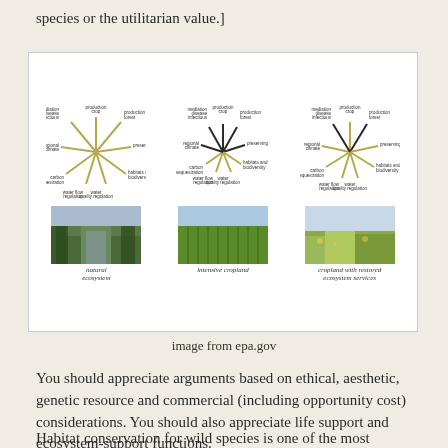species or the utilitarian value.]
[Figure (infographic): Three spider/wheel diagrams showing ecosystem services for natural ecosystem, intensive cropland, and cropland with restored ecosystem services. Below each diagram is a landscape photograph. Labels include: infectious disease mediation, crop production, forest production, regional climate and air quality regulation, preserving habitats and biodiversity, water flow regulation, water quality regulation, carbon sequestration.]
image from epa.gov
You should appreciate arguments based on ethical, aesthetic, genetic resource and commercial (including opportunity cost) considerations. You should also appreciate life support and ecosystem-support functions.
Habitat conservation for wild species is one of the most important issues facing the environment today – both in